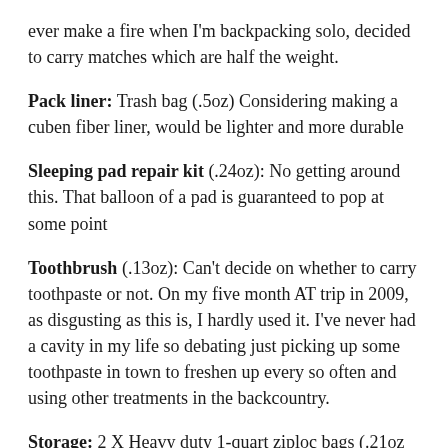ever make a fire when I'm backpacking solo, decided to carry matches which are half the weight.
Pack liner: Trash bag (.5oz) Considering making a cuben fiber liner, would be lighter and more durable
Sleeping pad repair kit (.24oz): No getting around this. That balloon of a pad is guaranteed to pop at some point
Toothbrush (.13oz): Can't decide on whether to carry toothpaste or not. On my five month AT trip in 2009, as disgusting as this is, I hardly used it. I've never had a cavity in my life so debating just picking up some toothpaste in town to freshen up every so often and using other treatments in the backcountry.
Storage: 2 X Heavy duty 1-quart ziploc bags (.21oz each)